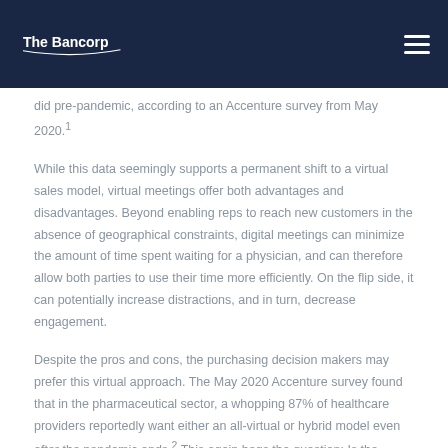The Bancorp
did pre-pandemic, according to an Accenture survey from May 2020.¹
While this data seemingly supports a permanent shift to a virtual sales model, virtual meetings offer both advantages and disadvantages. Beyond enabling reps to reach new customers in the absence of geographical constraints, digital meetings can minimize the amount of time spent waiting for a physician, and can therefore allow both parties to use their time more efficiently. On the flip side, it can potentially increase distractions, and in turn, decrease engagement.
Despite the pros and cons, the purchasing decision makers may prefer this virtual approach. The May 2020 Accenture survey found that in the pharmaceutical sector, a whopping 87% of healthcare providers reportedly want either an all-virtual or hybrid model even after the pandemic ends.² This again begs the question: Is the